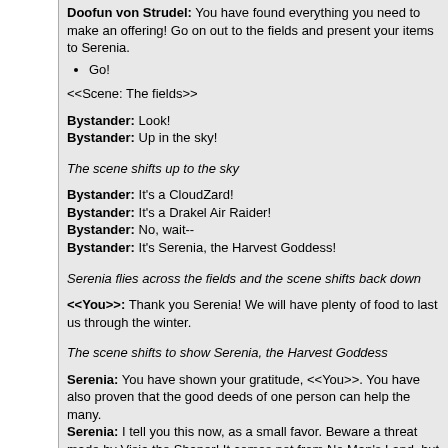Doofun von Strudel: You have found everything you need to make an offering! Go on out to the fields and present your items to Serenia.
Go!
<<Scene: The fields>>
Bystander: Look!
Bystander: Up in the sky!
The scene shifts up to the sky
Bystander: It's a CloudZard!
Bystander: It's a Drakel Air Raider!
Bystander: No, wait--
Bystander: It's Serenia, the Harvest Goddess!
Serenia flies across the fields and the scene shifts back down
<<You>>: Thank you Serenia! We will have plenty of food to last us through the winter.
The scene shifts to show Serenia, the Harvest Goddess
Serenia: You have shown your gratitude, <<You>>. You have also proven that the good deeds of one person can help the many.
Serenia: I tell you this now, as a small favor. Beware a threat made by Visia the Shaper! It comes not from No Man's Land, but from another plane of existence!
???
Serenia: The power that gave Visia HER powers had her practice them somewhere else, and what she has wrought will be here by Frostval!!
!!!
Serenia flies away